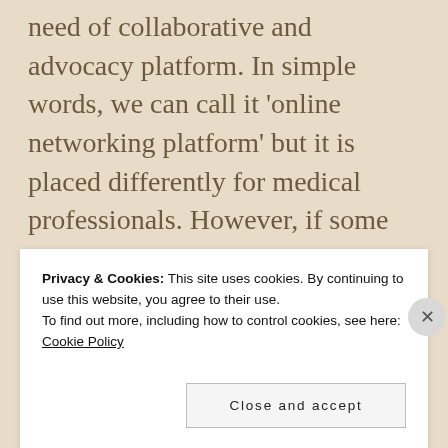need of collaborative and advocacy platform. In simple words, we can call it 'online networking platform' but it is placed differently for medical professionals. However, if some practices are disseminated through a neutral platform and supported by some unbiased opinion leaders, practitioners are likely to more rely on that.
Privacy & Cookies: This site uses cookies. By continuing to use this website, you agree to their use. To find out more, including how to control cookies, see here: Cookie Policy
Close and accept